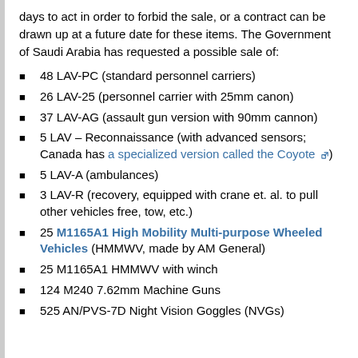days to act in order to forbid the sale, or a contract can be drawn up at a future date for these items. The Government of Saudi Arabia has requested a possible sale of:
48 LAV-PC (standard personnel carriers)
26 LAV-25 (personnel carrier with 25mm canon)
37 LAV-AG (assault gun version with 90mm cannon)
5 LAV – Reconnaissance (with advanced sensors; Canada has a specialized version called the Coyote)
5 LAV-A (ambulances)
3 LAV-R (recovery, equipped with crane et. al. to pull other vehicles free, tow, etc.)
25 M1165A1 High Mobility Multi-purpose Wheeled Vehicles (HMMWV, made by AM General)
25 M1165A1 HMMWV with winch
124 M240 7.62mm Machine Guns
525 AN/PVS-7D Night Vision Goggles (NVGs)